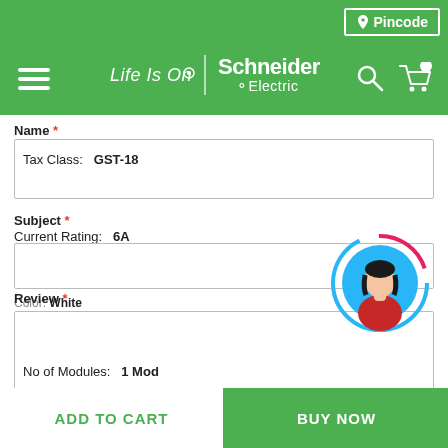[Figure (screenshot): Schneider Electric website header with green background, hamburger menu, Life Is On | Schneider Electric logo, search and cart icons, and Pincode button]
Name *
Tax Class:   GST-18
Subject *
Current Rating:   6A
Color: White
Review *
No of Modules:   1 Mod
No of Ways:   1 Way
ADD TO CART
BUY NOW